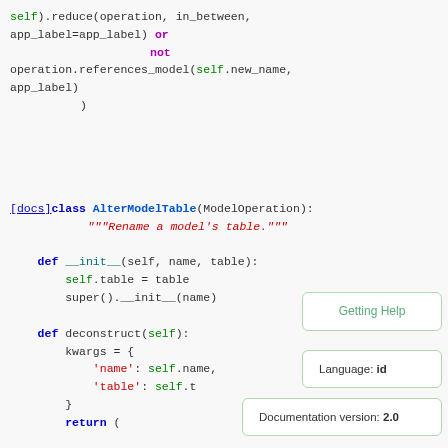self).reduce(operation, in_between,
app_label=app_label) or
                not
operation.references_model(self.new_name,
app_label)
        )
[docs]class AlterModelTable(ModelOperation):
    """Rename a model's table."""

    def __init__(self, name, table):
        self.table = table
        super().__init__(name)

    def deconstruct(self):
        kwargs = {
            'name': self.name,
            'table': self.t...
        }
        return (
Getting Help
Language: id
Documentation version: 2.0